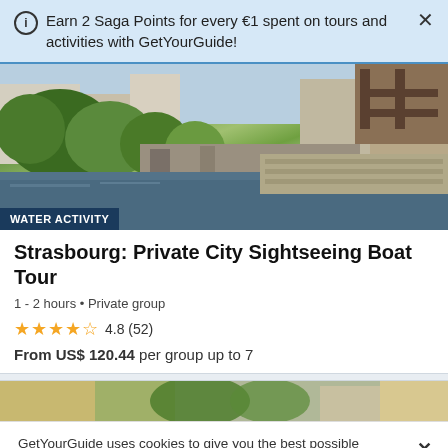Earn 2 Saga Points for every €1 spent on tours and activities with GetYourGuide!
[Figure (photo): Strasbourg canal with green trees, historic buildings and a waterway reflecting the scenery]
WATER ACTIVITY
Strasbourg: Private City Sightseeing Boat Tour
1 - 2 hours • Private group
4.8 (52)
From US$ 120.44 per group up to 7
[Figure (photo): Partial view of a second tour listing showing buildings and trees]
GetYourGuide uses cookies to give you the best possible service. If you continue browsing, you agree to the use of cookies. More details can be found in our privacy policy.